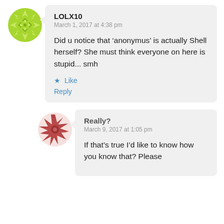[Figure (illustration): Green decorative avatar icon with floral/geometric pattern]
LOLX10
March 1, 2017 at 4:38 pm

Did u notice that ‘anonymus’ is actually Shell herself? She must think everyone on here is stupid... smh

★ Like
Reply
[Figure (illustration): Red/brown spiky abstract avatar icon]
Really?
March 9, 2017 at 1:05 pm

If that’s true I’d like to know how you know that? Please